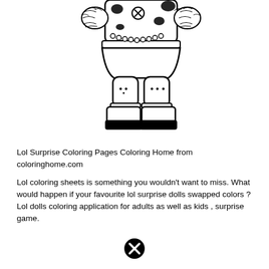[Figure (illustration): Black and white coloring page illustration of an LOL Surprise doll showing the lower body: torso with a spotted (cow-print) outfit, fluffy sleeves/cuffs, pearl necklace, button detail, chunky legs with ankle straps, and large platform shoes with black soles.]
Lol Surprise Coloring Pages Coloring Home from coloringhome.com
Lol coloring sheets is something you wouldn't want to miss. What would happen if your favourite lol surprise dolls swapped colors ? Lol dolls coloring application for adults as well as kids , surprise game.